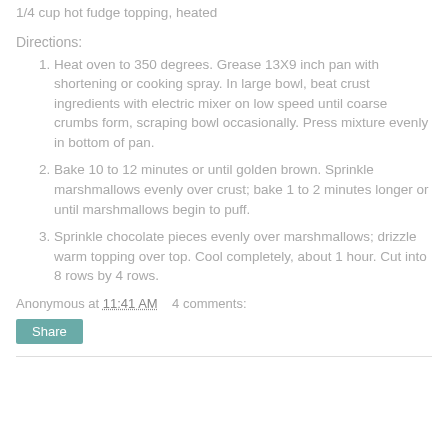1/4 cup hot fudge topping, heated
Directions:
1. Heat oven to 350 degrees. Grease 13X9 inch pan with shortening or cooking spray. In large bowl, beat crust ingredients with electric mixer on low speed until coarse crumbs form, scraping bowl occasionally. Press mixture evenly in bottom of pan.
2. Bake 10 to 12 minutes or until golden brown. Sprinkle marshmallows evenly over crust; bake 1 to 2 minutes longer or until marshmallows begin to puff.
3. Sprinkle chocolate pieces evenly over marshmallows; drizzle warm topping over top. Cool completely, about 1 hour. Cut into 8 rows by 4 rows.
Anonymous at 11:41 AM   4 comments:
Share